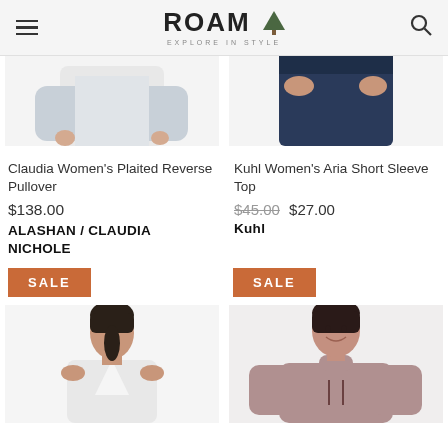ROAM EXPLORE IN STYLE
[Figure (photo): Partial view of a woman modeling the Claudia Women's Plaited Reverse Pullover, showing lower torso and hands]
[Figure (photo): Partial view of a woman modeling the Kuhl Women's Aria Short Sleeve Top, showing lower body in jeans]
Claudia Women's Plaited Reverse Pullover
$138.00
ALASHAN / CLAUDIA NICHOLE
Kuhl Women's Aria Short Sleeve Top
$45.00  $27.00
Kuhl
SALE
SALE
[Figure (photo): Woman in white sleeveless top with V-neck, hair pulled back, product photo]
[Figure (photo): Woman in mauve/pink hoodie pullover, smiling, product photo]